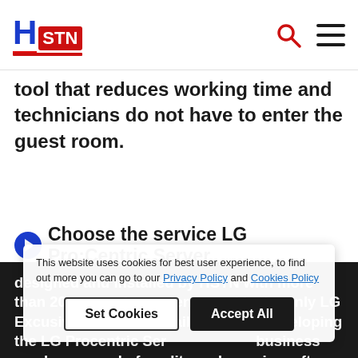HSTN
tool that reduces working time and technicians do not have to enter the guest room.
Choose the service LG Pro:Centric Server
designed and installed by HSTN with more than 20 years of experience and is the only LG Excusive Partner in Thailand. In co-developing the LG Procentric Server platform business can be assured of quality and premium after-sales
This website uses cookies for best user experience, to find out more you can go to our Privacy Policy and Cookies Policy
Set Cookies   Accept All